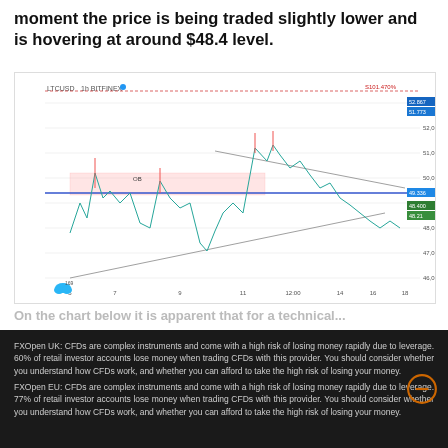moment the price is being traded slightly lower and is hovering at around $48.4 level.
[Figure (continuous-plot): LTC/USD 1h candlestick chart from Bitfinex showing price action with a horizontal support zone around $48-49, pink shaded rectangle indicating a resistance/support area, converging trendlines forming a wedge pattern, and price labels on the right axis. X-axis shows dates from approximately 5 to 18, price range roughly $45-53.]
On the chart below it is apparent that for a technical...
FXOpen UK: CFDs are complex instruments and come with a high risk of losing money rapidly due to leverage. 60% of retail investor accounts lose money when trading CFDs with this provider. You should consider whether you understand how CFDs work, and whether you can afford to take the high risk of losing your money. FXOpen EU: CFDs are complex instruments and come with a high risk of losing money rapidly due to leverage. 77% of retail investor accounts lose money when trading CFDs with this provider. You should consider whether you understand how CFDs work, and whether you can afford to take the high risk of losing your money.